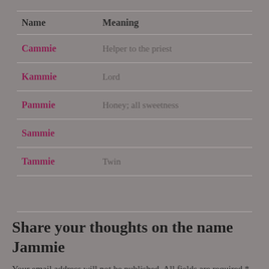| Name | Meaning |
| --- | --- |
| Cammie | Helper to the priest |
| Kammie | Lord |
| Pammie | Honey; all sweetness |
| Sammie |  |
| Tammie | Twin |
Share your thoughts on the name Jammie
Your email address will not be published. All fields are required *